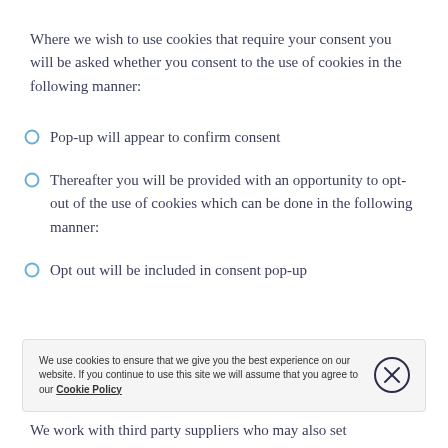Where we wish to use cookies that require your consent you will be asked whether you consent to the use of cookies in the following manner:
Pop-up will appear to confirm consent
Thereafter you will be provided with an opportunity to opt-out of the use of cookies which can be done in the following manner:
Opt out will be included in consent pop-up
We use cookies to ensure that we give you the best experience on our website. If you continue to use this site we will assume that you agree to our Cookie Policy
We work with third party suppliers who may also set